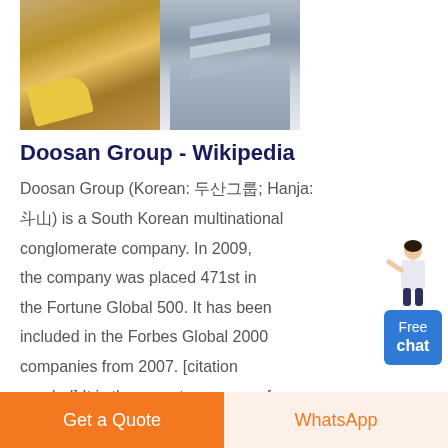[Figure (photo): Two industrial/mining site photos side by side: left shows yellow heavy machinery/equipment, right shows grey industrial structure/building framework]
Doosan Group - Wikipedia
Doosan Group (Korean: 두산그룹; Hanja: 斗山) is a South Korean multinational conglomerate company. In 2009, the company was placed 471st in the Fortune Global 500. It has been included in the Forbes Global 2000 companies from 2007. [citation needed] It is the parent company of Škoda Power.Doosan was ranked 4th among the "World's Best 40
[Figure (illustration): Free chat widget with a figure of a woman pointing and a blue button labeled Free chat]
Get a Quote
WhatsApp